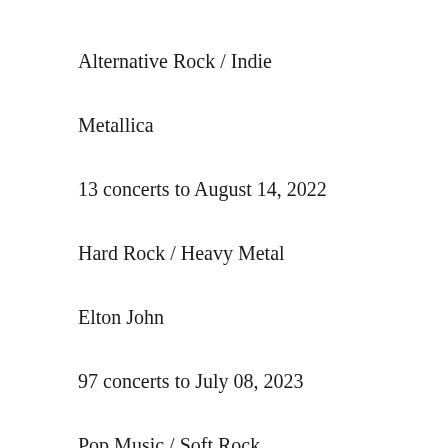Alternative Rock / Indie
Metallica
13 concerts to August 14, 2022
Hard Rock / Heavy Metal
Elton John
97 concerts to July 08, 2023
Pop Music / Soft Rock
Aerosmith